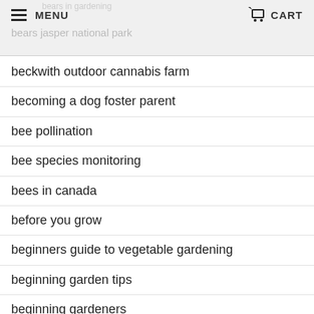MENU | CART | bears jasper national park
beckwith outdoor cannabis farm
becoming a dog foster parent
bee pollination
bee species monitoring
bees in canada
before you grow
beginners guide to vegetable gardening
beginning garden tips
beginning gardeners
being a responsible dog owner
benefits of dog fence
benefits of fence stakes
benefits of gardening
benefits of metal fence